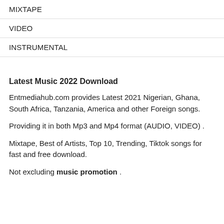MIXTAPE
VIDEO
INSTRUMENTAL
Latest Music 2022 Download
Entmediahub.com provides Latest 2021 Nigerian, Ghana, South Africa, Tanzania, America and other Foreign songs.
Providing it in both Mp3 and Mp4 format (AUDIO, VIDEO) .
Mixtape, Best of Artists, Top 10, Trending, Tiktok songs for fast and free download.
Not excluding music promotion .